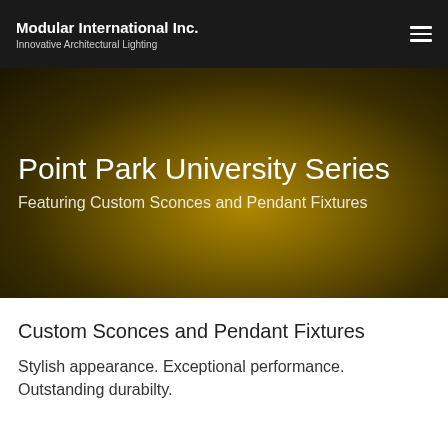Modular International Inc. — Innovative Architectural Lighting
[Figure (illustration): Hero banner with golden-brown radial gradient background featuring the Point Park University Series heading and subtitle text]
Point Park University Series
Featuring Custom Sconces and Pendant Fixtures
Custom Sconces and Pendant Fixtures
Stylish appearance. Exceptional performance. Outstanding durabilty.